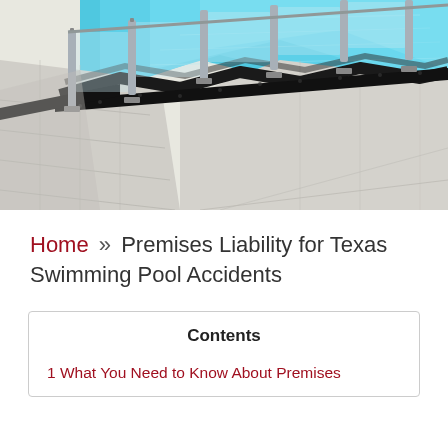[Figure (photo): Overhead/angled view of a swimming pool with glass and metal railing fencing around the pool edge, light gray stone tile deck, and turquoise blue pool water visible in the upper portion.]
Home » Premises Liability for Texas Swimming Pool Accidents
| Contents |
| --- |
| 1 What You Need to Know About Premises |